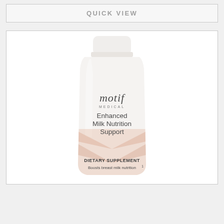QUICK VIEW
[Figure (photo): Motif Medical Enhanced Milk Nutrition Support dietary supplement bottle with white cap, white body, peach/nude chevron design at bottom, showing brand name 'motif MEDICAL' in script, product name 'Enhanced Milk Nutrition Support', 'DIETARY SUPPLEMENT', and 'Boosts breast milk nutrition¹']